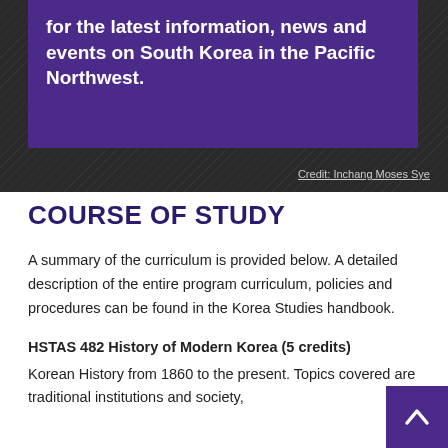[Figure (photo): Dark textured hero banner with purple overlay box containing text about South Korea events in Pacific Northwest]
for the latest information, news and events on South Korea in the Pacific Northwest.
Credit: Inchang Moses Sye
COURSE OF STUDY
A summary of the curriculum is provided below. A detailed description of the entire program curriculum, policies and procedures can be found in the Korea Studies handbook.
HSTAS 482 History of Modern Korea (5 credits)
Korean History from 1860 to the present. Topics covered are traditional institutions and society,